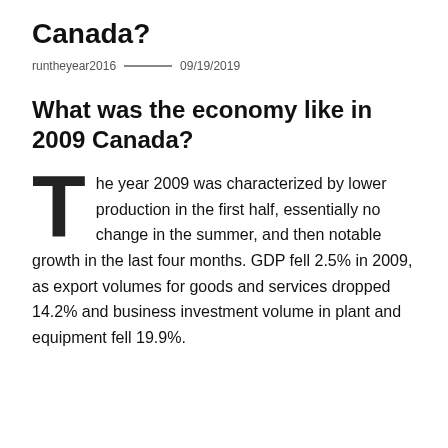Canada?
runtheyear2016  —  09/19/2019
What was the economy like in 2009 Canada?
The year 2009 was characterized by lower production in the first half, essentially no change in the summer, and then notable growth in the last four months. GDP fell 2.5% in 2009, as export volumes for goods and services dropped 14.2% and business investment volume in plant and equipment fell 19.9%.